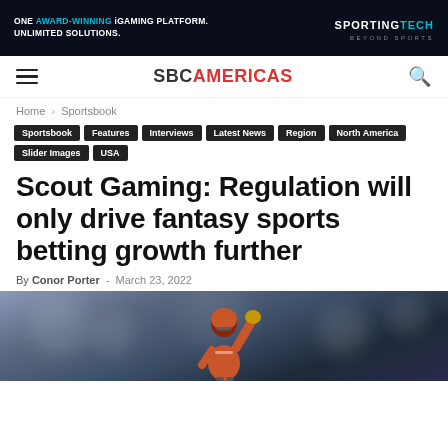[Figure (other): Sporting Tech advertisement banner with dark background. Text reads: ONE AWARD-WINNING iGAMING PLATFORM. UNLIMITED SOLUTIONS. with SportingTech logo and tagline BEYOND SPORTS.]
SBC AMERICAS
Home › Sportsbook
Sportsbook
Features
Interviews
Latest News
Region
North America
Slider Images
USA
Scout Gaming: Regulation will only drive fantasy sports betting growth further
By Conor Porter - March 23, 2022
[Figure (photo): American football player in helmet raising a fist in triumph against a dramatic bokeh/cloudy sky background.]